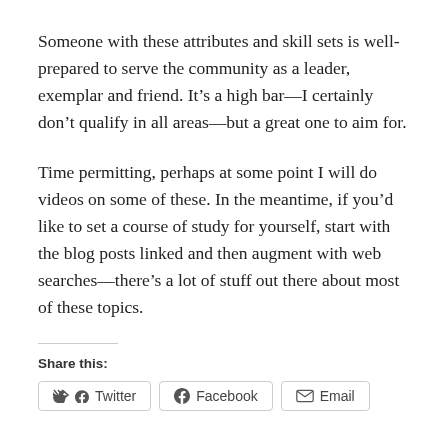Someone with these attributes and skill sets is well-prepared to serve the community as a leader, exemplar and friend. It’s a high bar—I certainly don’t qualify in all areas—but a great one to aim for.
Time permitting, perhaps at some point I will do videos on some of these. In the meantime, if you’d like to set a course of study for yourself, start with the blog posts linked and then augment with web searches—there’s a lot of stuff out there about most of these topics.
Share this:
Twitter  Facebook  Email